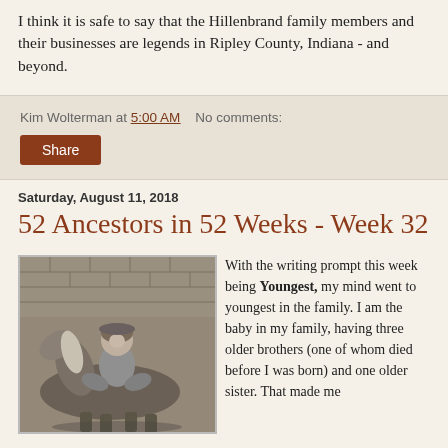I think it is safe to say that the Hillenbrand family members and their businesses are legends in Ripley County, Indiana - and beyond.
Kim Wolterman at 5:00 AM   No comments:
Share
Saturday, August 11, 2018
52 Ancestors in 52 Weeks - Week 32
[Figure (photo): Black and white photo of a young child sitting on a small horse or pony in front of a brick wall]
With the writing prompt this week being Youngest, my mind went to youngest in the family. I am the baby in my family, having three older brothers (one of whom died before I was born) and one older sister. That made me